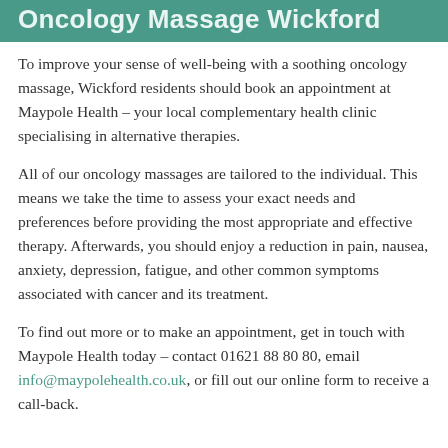Oncology Massage Wickford
To improve your sense of well-being with a soothing oncology massage, Wickford residents should book an appointment at Maypole Health – your local complementary health clinic specialising in alternative therapies.
All of our oncology massages are tailored to the individual. This means we take the time to assess your exact needs and preferences before providing the most appropriate and effective therapy. Afterwards, you should enjoy a reduction in pain, nausea, anxiety, depression, fatigue, and other common symptoms associated with cancer and its treatment.
To find out more or to make an appointment, get in touch with Maypole Health today – contact 01621 88 80 80, email info@maypolehealth.co.uk, or fill out our online form to receive a call-back.